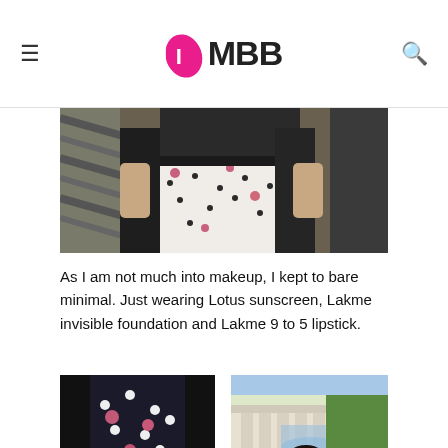IMBB
[Figure (photo): Close-up photo of a person wearing a black and white floral/polka-dot dress with black cardigan, standing indoors]
As I am not much into makeup, I kept to bare minimal. Just wearing Lotus sunscreen, Lakme invisible foundation and Lakme 9 to 5 lipstick.
[Figure (photo): Photo of a person's torso wearing a black and white polka dot dress with floral pattern]
[Figure (photo): Photo of a person with dark hair in a ponytail with a pink hair accessory, wearing sunglasses and black jacket, outdoors near a fountain]